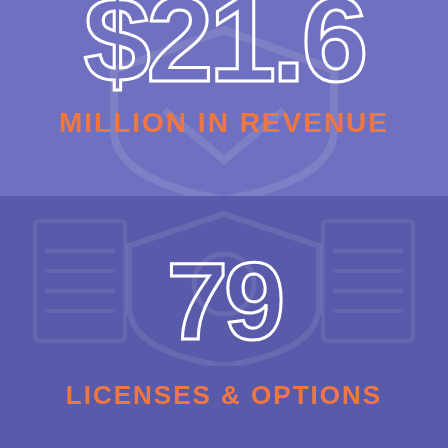[Figure (infographic): Top panel with purple background showing 'MILLION IN REVENUE' text label in orange with a faded shield watermark]
[Figure (infographic): Bottom panel with darker purple background showing large outlined number '79' and 'LICENSES & OPTIONS' label in orange, with faded shield and receipt watermarks]